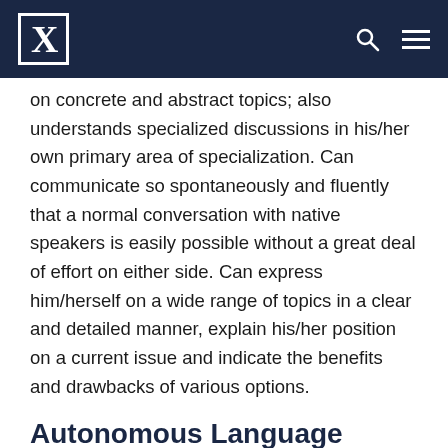X [logo]
on concrete and abstract topics; also understands specialized discussions in his/her own primary area of specialization. Can communicate so spontaneously and fluently that a normal conversation with native speakers is easily possible without a great deal of effort on either side. Can express him/herself on a wide range of topics in a clear and detailed manner, explain his/her position on a current issue and indicate the benefits and drawbacks of various options.
Autonomous Language Ability - C1
Can understand a wide range of challenging, longer texts and also grasp implicit meanings. Can